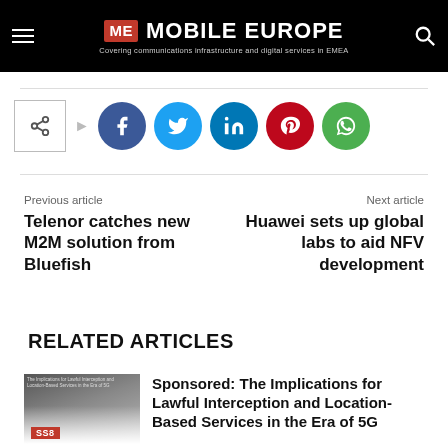ME MOBILE EUROPE — Covering communications infrastructure and digital services in EMEA
[Figure (infographic): Share bar with share icon box, arrow, and five social media buttons: Facebook (blue), Twitter (cyan), LinkedIn (dark blue), Pinterest (red), WhatsApp (green)]
Previous article
Telenor catches new M2M solution from Bluefish
Next article
Huawei sets up global labs to aid NFV development
RELATED ARTICLES
[Figure (photo): Thumbnail image for related article about Lawful Interception, showing two people and an SSS badge]
Sponsored: The Implications for Lawful Interception and Location-Based Services in the Era of 5G